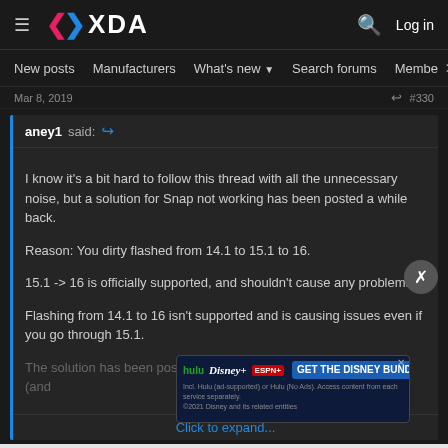[Figure (screenshot): XDA Developers forum website header with logo, navigation menu, and forum post content showing a quote block about dirty flashing from 14.1 to 16, with a Disney Bundle advertisement overlay]
XDA Developers - New posts | Manufacturers | What's new | Search forums | Members
Mar 8, 2019  #330
aney1 said:
I know it's a bit hard to follow this thread with all the unnecessary noise, but a solution for Snap not working has been posted a while back.
Reason: You dirty flashed from 14.1 to 15.1 to 16.
15.1 -> 16 is officially supported, and shouldn't cause any problems.
Flashing from 14.1 to 16 isn't supported and is causing issues even if you go through 15.1.
The solution has been posed by oc99c in the Oneplus One Thread (and...
Click to expand...
I'll take a                                                             clean flash. But
If you have easy solution for keeping data for all the apps I'm all for clean flashing. Don't want to run into more issues though the rest of the phone
[Figure (screenshot): Hulu Disney+ ESPN+ GET THE DISNEY BUNDLE advertisement banner. Fine print: Incl. Hulu (ad-supported) or Hulu (No Ads). Access content from each service separately. ©2021 Disney and its related entities]